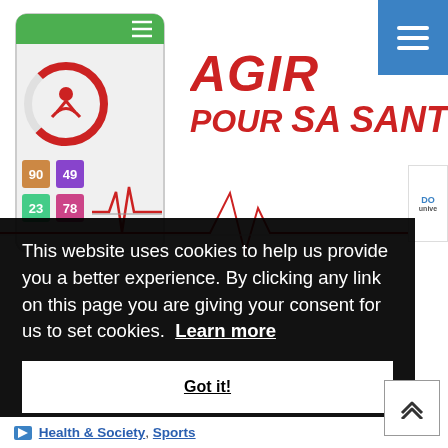[Figure (screenshot): Mobile app screenshot showing a health app with circular activity gauge, colored icons with numbers (90, 49, 23, 78), and a heartbeat/line chart. Text reads 'AGIR POUR SA SANTÉ' in red bold italic. Blue hamburger menu button in top-right corner. Partial logos visible on right edge.]
This website uses cookies to help us provide you a better experience. By clicking any link on this page you are giving your consent for us to set cookies.  Learn more
Got it!
Health & Society, Sports